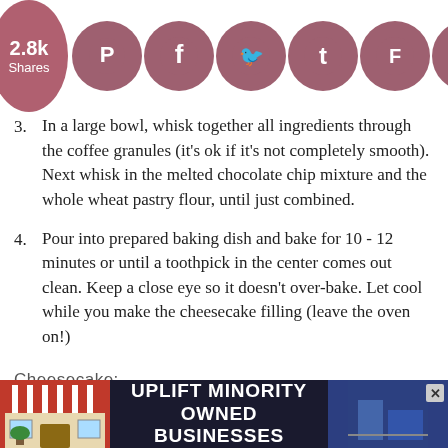[Figure (infographic): Social sharing bar with share count (2.8k Shares) and social media icon circles for Pinterest (2.8k), Facebook, Twitter, Tumblr, Flipboard, Yummly, and another icon — all in muted mauve/rose circles against white background.]
3. In a large bowl, whisk together all ingredients through the coffee granules (it's ok if it's not completely smooth). Next whisk in the melted chocolate chip mixture and the whole wheat pastry flour, until just combined.
4. Pour into prepared baking dish and bake for 10 - 12 minutes or until a toothpick in the center comes out clean. Keep a close eye so it doesn't over-bake. Let cool while you make the cheesecake filling (leave the oven on!)
Cheesecake:
1. Add cottage cheese and yogurt into a
[Figure (infographic): Advertisement banner at bottom: 'UPLIFT MINORITY OWNED BUSINESSES' in bold white text on dark navy background, with a storefront illustration on the left, close button top right, and partial imagery on right side.]